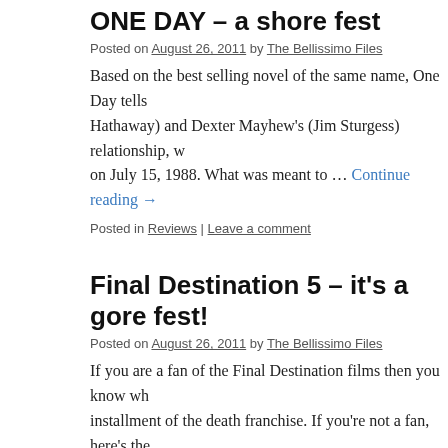ONE DAY – a shore fest
Posted on August 26, 2011 by The Bellissimo Files
Based on the best selling novel of the same name, One Day tells Hathaway) and Dexter Mayhew's (Jim Sturgess) relationship, w on July 15, 1988. What was meant to … Continue reading →
Posted in Reviews | Leave a comment
Final Destination 5 – it's a gore fest!
Posted on August 26, 2011 by The Bellissimo Files
If you are a fan of the Final Destination films then you know wh installment of the death franchise. If you're not a fan, here's the friends/colleagues are off … Continue reading →
Posted in Reviews | 1 Comment
Third SEX AND THE CITY MOVIE coming